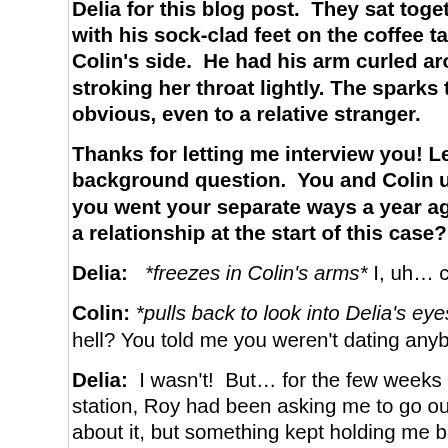Delia for this blog post.  They sat together on the sofa, Colin with his sock-clad feet on the coffee table and Delia tucked into Colin's side.  He had his arm curled around her neck, his fingers stroking her throat lightly. The sparks that fly between them are obvious, even to a relative stranger.
Thanks for letting me interview you! Let's start with a background question.  You and Colin used to be a couple, but you went your separate ways a year ago.  Were either of you in a relationship at the start of this case?
Delia:   *freezes in Colin's arms* I, uh… crap.
Colin: *pulls back to look into Delia's eyes, his fingers still*  What the hell? You told me you weren't dating anybody.
Delia:  I wasn't!  But… for the few weeks before you came by the station, Roy had been asking me to go out with him. I was thinking about it, but something kept holding me back.
Colin:   *scowls* Oakes? You were gonna go out with Oakes? Your partner when you go under as a hooker? Which I hate — you know that, right?
Delia:  *sighs, relaxes back against him, her hand over his heart* I know you do, but it's part of my job. Anyway, I said I was thinking about it, but I told him no, so no harm, no foul.